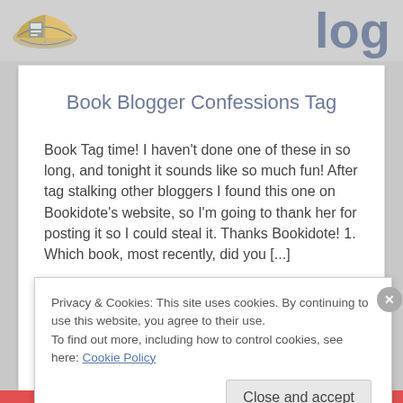[Figure (illustration): Book logo illustration with open book graphic on left, partial stylized text on right in blue-gray]
Book Blogger Confessions Tag
Book Tag time! I haven't done one of these in so long, and tonight it sounds like so much fun! After tag stalking other bloggers I found this one on Bookidote's website, so I'm going to thank her for posting it so I could steal it. Thanks Bookidote! 1. Which book, most recently, did you [...]
VIEW MORE
Privacy & Cookies: This site uses cookies. By continuing to use this website, you agree to their use.
To find out more, including how to control cookies, see here: Cookie Policy
Close and accept